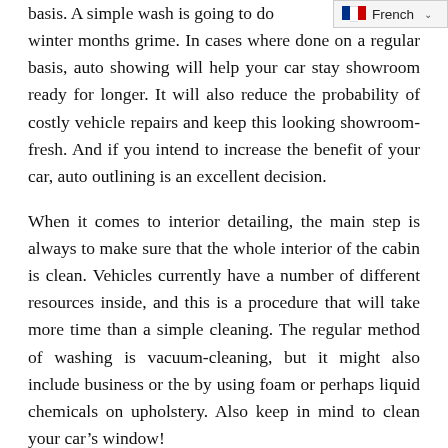basis. A simple wash is going to do winter months grime. In cases where done on a regular basis, auto showing will help your car stay showroom ready for longer. It will also reduce the probability of costly vehicle repairs and keep this looking showroom-fresh. And if you intend to increase the benefit of your car, auto outlining is an excellent decision.
When it comes to interior detailing, the main step is always to make sure that the whole interior of the cabin is clean. Vehicles currently have a number of different resources inside, and this is a procedure that will take more time than a simple cleaning. The regular method of washing is vacuum-cleaning, but it might also include business or the by using foam or perhaps liquid chemicals on upholstery. Also keep in mind to clean your car’s window!
Professional vehicle detailers generally use a organization management app to organize their function. The app helps